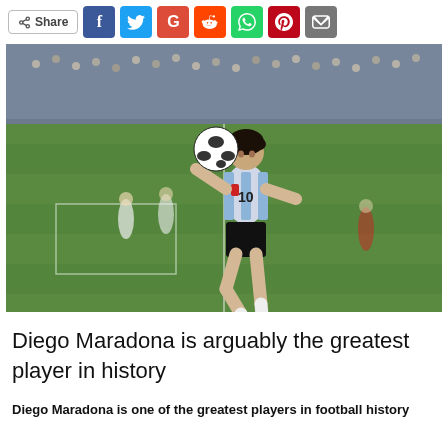[Figure (other): Social share bar with Share button, Facebook, Twitter, Google+, Reddit, WhatsApp, Pinterest, and Email icons]
[Figure (photo): Diego Maradona wearing Argentina number 10 jersey, controlling a soccer ball mid-air on a football pitch with a packed stadium in the background]
Diego Maradona is arguably the greatest player in history
Diego Maradona is one of the greatest players in football history